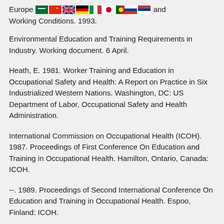Europe [flags] and Working Conditions. 1993.
Environmental Education and Training Requirements in Industry. Working document. 6 April.
Heath, E. 1981. Worker Training and Education in Occupational Safety and Health: A Report on Practice in Six Industrialized Western Nations. Washington, DC: US Department of Labor, Occupational Safety and Health Administration.
International Commission on Occupational Health (ICOH). 1987. Proceedings of First Conference On Education and Training in Occupational Health. Hamilton, Ontario, Canada: ICOH.
--. 1989. Proceedings of Second International Conference On Education and Training in Occupational Health. Espoo, Finland: ICOH.